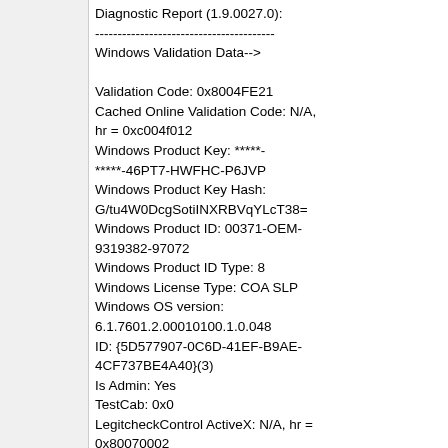Diagnostic Report (1.9.0027.0):
----------------------------------------
Windows Validation Data-->

Validation Code: 0x8004FE21
Cached Online Validation Code: N/A, hr = 0xc004f012
Windows Product Key: *****-*****-46PT7-HWFHC-P6JVP
Windows Product Key Hash: G/tu4W0DcgSotiINXRBVqYLcT38=
Windows Product ID: 00371-OEM-9319382-97072
Windows Product ID Type: 8
Windows License Type: COA SLP
Windows OS version: 6.1.7601.2.00010100.1.0.048
ID: {5D577907-0C6D-41EF-B9AE-4CF737BE4A40}(3)
Is Admin: Yes
TestCab: 0x0
LegitcheckControl ActiveX: N/A, hr = 0x80070002
Signed By: N/A, hr = 0x80070002
Product Name: Windows 7 Professional
Architecture: 0x00000009